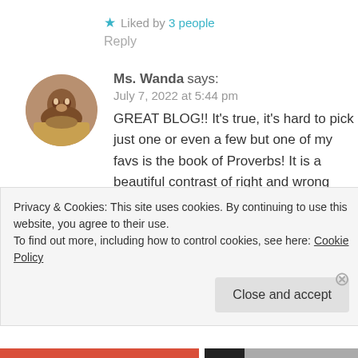★ Liked by 3 people
Reply
[Figure (photo): Circular avatar photo of Ms. Wanda]
Ms. Wanda says:
July 7, 2022 at 5:44 pm
GREAT BLOG!! It's true, it's hard to pick just one or even a few but one of my favs is the book of Proverbs! It is a beautiful contrast of right and wrong thinking and behavior. Having read the Bible from Genesis to Revelation
Privacy & Cookies: This site uses cookies. By continuing to use this website, you agree to their use.
To find out more, including how to control cookies, see here: Cookie Policy
Close and accept